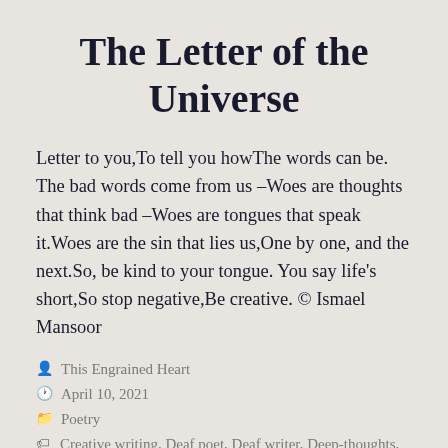The Letter of the Universe
Letter to you,To tell you howThe words can be. The bad words come from us –Woes are thoughts that think bad –Woes are tongues that speak it.Woes are the sin that lies us,One by one, and the next.So, be kind to your tongue. You say life's short,So stop negative,Be creative. © Ismael Mansoor
This Engrained Heart
April 10, 2021
Poetry
Creative writing, Deaf poet, Deaf writer, Deep-thoughts,